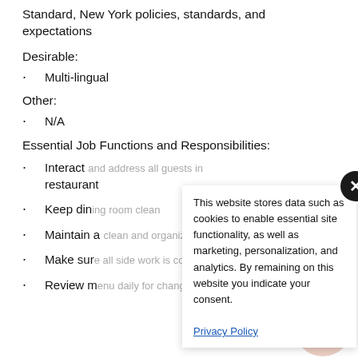Standard, New York policies, standards, and expectations
Desirable:
Multi-lingual
Other:
N/A
Essential Job Functions and Responsibilities:
Interact and address all guests in restaurant
Keep dining room clean
Maintain a clean and organized wait station (see SOP's)
Make sure all side work is complete
Review menu daily for changes and specials